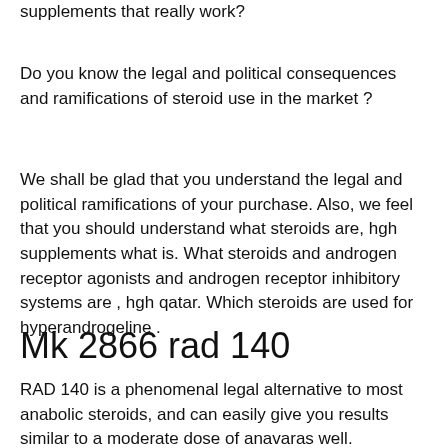supplements that really work?
Do you know the legal and political consequences and ramifications of steroid use in the market ?
We shall be glad that you understand the legal and political ramifications of your purchase. Also, we feel that you should understand what steroids are, hgh supplements what is. What steroids and androgen receptor agonists and androgen receptor inhibitory systems are , hgh qatar. Which steroids are used for hyperandrogeline .
Mk 2866 rad 140
RAD 140 is a phenomenal legal alternative to most anabolic steroids, and can easily give you results similar to a moderate dose of anavaras well.